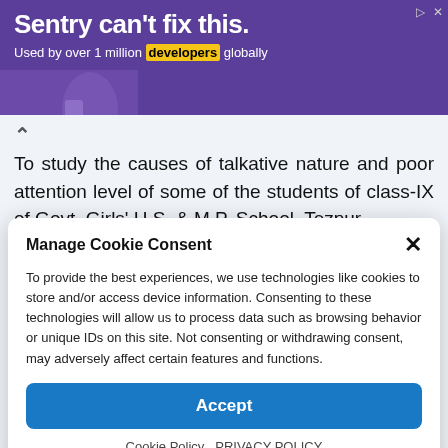[Figure (screenshot): Sentry advertisement banner with purple background. Headline: 'Sentry can't fix this.' Subline: 'Used by over 1 million developers globally'. Sentry logo on right side.]
To study the causes of talkative nature and poor attention level of some of the students of class-IX of Govt. Girls' H.S. & M.P. School, Tezpur.
Manage Cookie Consent
To provide the best experiences, we use technologies like cookies to store and/or access device information. Consenting to these technologies will allow us to process data such as browsing behavior or unique IDs on this site. Not consenting or withdrawing consent, may adversely affect certain features and functions.
Accept
Cookie Policy   PRIVACY POLICY